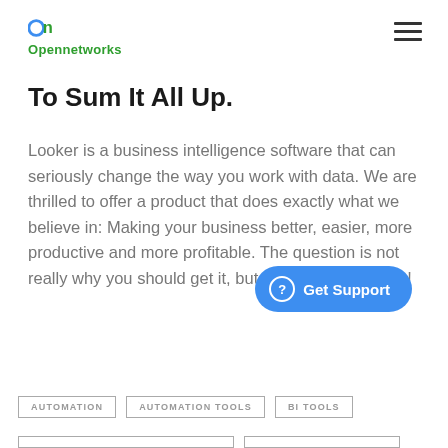On Opennetworks
To Sum It All Up.
Looker is a business intelligence software that can seriously change the way you work with data.  We are thrilled to offer a product that does exactly what we believe in:  Making your business better, easier, more productive and more profitable.  The question is not really why you should get it, but why you haven't yet!
AUTOMATION
AUTOMATION TOOLS
BI TOOLS